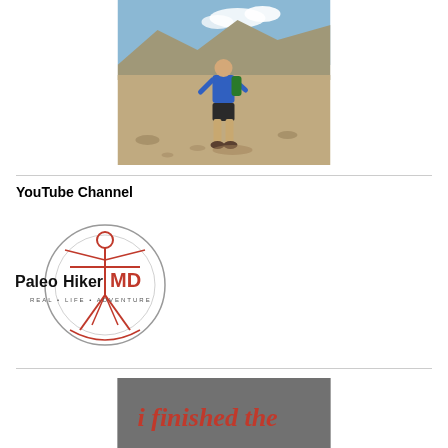[Figure (photo): Person standing on a rocky mountain hillside wearing a blue shirt and dark shorts, with mountain range visible in background under blue sky]
[Figure (logo): PaleoHikerMD logo with Vitruvian man figure in a circle, text reads 'PaleoHiker MD REAL • LIFE • ADVENTURE']
YouTube Channel
[Figure (photo): Partial banner image with gray background and red italic text reading 'i finished the']